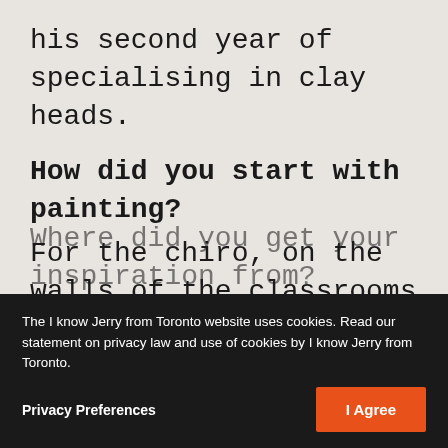his second year of specialising in clay heads.
How did you start with painting?
For the chiro, on the walls of the classrooms or on panels and in people's homes with acrylic paint. And now I am taking evening classes in oil paint...
Where did you get your inspiration from?
The I know Jerry from Toronto website uses cookies. Read our statement on privacy law and use of cookies by I know Jerry from Toronto.
Privacy Preferences
I Agree